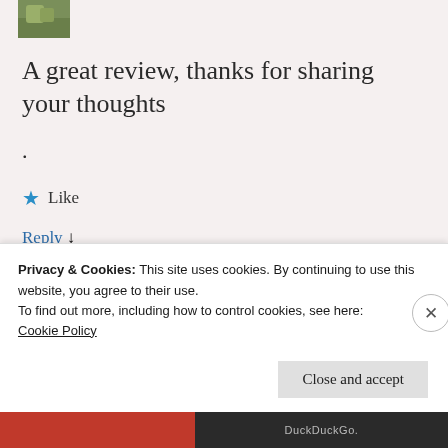[Figure (photo): Small thumbnail image, partially visible at top-left, appears to show food item with green coloring]
A great review, thanks for sharing your thoughts
.
★ Like
Reply ↓
Privacy & Cookies: This site uses cookies. By continuing to use this website, you agree to their use.
To find out more, including how to control cookies, see here:
Cookie Policy
Close and accept